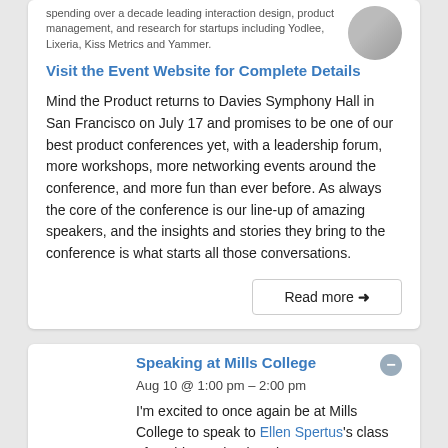spending over a decade leading interaction design, product management, and research for startups including Yodlee, Lixeria, Kiss Metrics and Yammer.
Visit the Event Website for Complete Details
Mind the Product returns to Davies Symphony Hall in San Francisco on July 17 and promises to be one of our best product conferences yet, with a leadership forum, more workshops, more networking events around the conference, and more fun than ever before. As always the core of the conference is our line-up of amazing speakers, and the insights and stories they bring to the conference is what starts all those conversations.
Read more →
AUG
10
Fri
Speaking at Mills College
Aug 10 @ 1:00 pm – 2:00 pm
I'm excited to once again be at Mills College to speak to Ellen Spertus's class of aspiring technology innovators.
Read more →